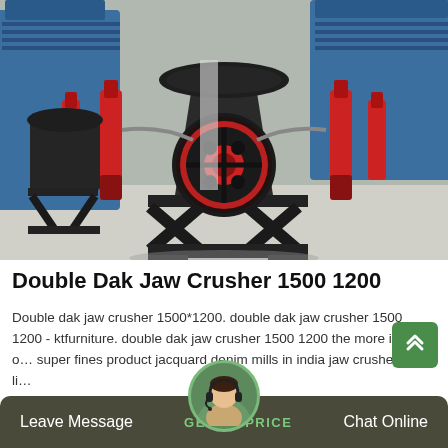[Figure (photo): Industrial jaw crusher machines in a factory/warehouse setting. Dark grey/black cone crushers with red hydraulic cylinders and a prominent black flywheel with red ring. Blue machinery visible in background.]
Double Dak Jaw Crusher 1500 1200
Double dak jaw crusher 1500*1200. double dak jaw crusher 1500 1200 - ktfurniture. double dak jaw crusher 1500 1200 the more iron o… super fines product jacquard denim mills in india jaw crusher price li…
Leave Message   GET LATEST PRICE   Chat Online